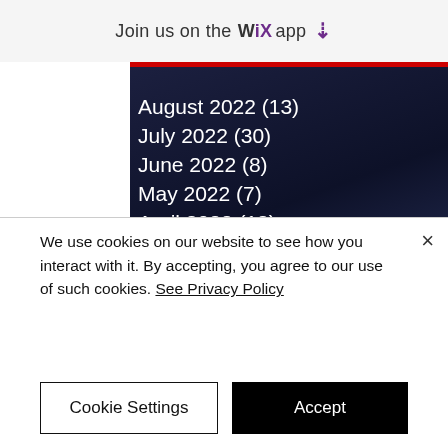Join us on the WiX app ↓
August 2022 (13)
July 2022 (30)
June 2022 (8)
May 2022 (7)
April 2022 (12)
March 2022 (10)
February 2022 (8)
January 2022 (5)
December 2021 (7)
November 2021 (12)
October 2021 (18)
September 2021 (9)
We use cookies on our website to see how you interact with it. By accepting, you agree to our use of such cookies. See Privacy Policy
Cookie Settings
Accept